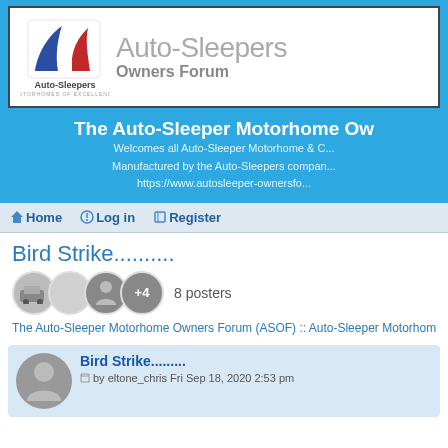[Figure (logo): Auto-Sleepers logo with blue and red AS emblem, text 'Auto-Sleepers MOTORHOMES OF EXCELLENCE' below]
Auto-Sleepers Owners Forum
The Auto-Sleeper Motorhome Owners Forum
Welcomes all Auto-Sleeper Motorhome & C... Manufactured by the Auto-Sleepers compan... https://www.autosleeper-ownersfo...
Home  Log in  Register
Bird Strike..........
8 posters
The Auto-Sleeper Motorhome Owners Forum (ASOF)  :: Auto-Sleeper Motorhom
Bird Strike.........
by eltone_chris Fri Sep 18, 2020 2:53 pm